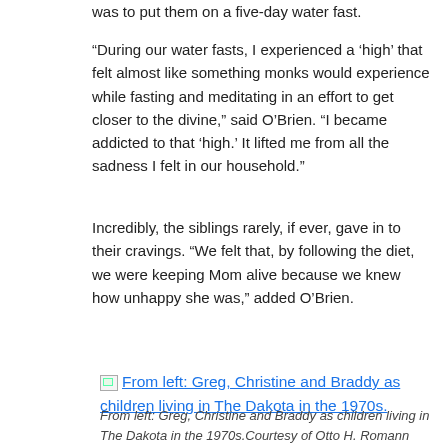was to put them on a five-day water fast.
“During our water fasts, I experienced a ‘high’ that felt almost like something monks would experience while fasting and meditating in an effort to get closer to the divine,” said O’Brien. “I became addicted to that ‘high.’ It lifted me from all the sadness I felt in our household.”
Incredibly, the siblings rarely, if ever, gave in to their cravings. “We felt that, by following the diet, we were keeping Mom alive because we knew how unhappy she was,” added O’Brien.
[Figure (photo): Broken image placeholder with link text: From left: Greg, Christine and Braddy as children living in The Dakota in the 1970s.]
From left: Greg, Christine and Braddy as children living in The Dakota in the 1970s.Courtesy of Otto H. Romann
Indeed, she had watched her mother almost die in Plandome when she was administering a series of coffee